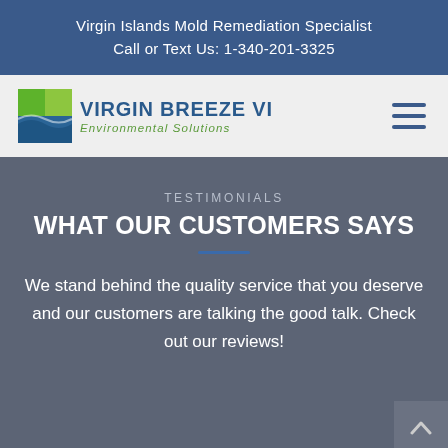Virgin Islands Mold Remediation Specialist
Call or Text Us: 1-340-201-3325
[Figure (logo): Virgin Breeze VI Environmental Solutions logo with green and blue square icon and company name]
TESTIMONIALS
WHAT OUR CUSTOMERS SAYS
We stand behind the quality service that you deserve and our customers are talking the good talk. Check out our reviews!